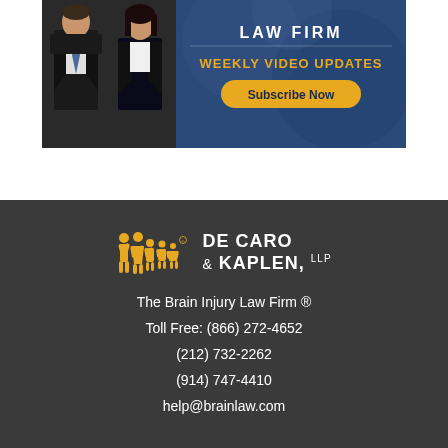[Figure (illustration): Law firm banner advertisement showing two lawyers (male and female) on left, with text 'LAW FIRM WEEKLY VIDEO UPDATES' and 'Subscribe Now' button on a blue/dark background]
[Figure (logo): De Caro & Kaplen, LLP logo with yellow family figures silhouettes and white text]
The Brain Injury Law Firm ®
Toll Free: (866) 272-4652
(212) 732-2262
(914) 747-4410
help@brainlaw.com